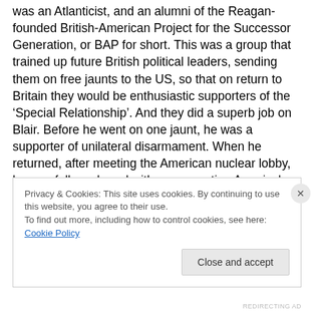was an Atlanticist, and an alumni of the Reagan-founded British-American Project for the Successor Generation, or BAP for short. This was a group that trained up future British political leaders, sending them on free jaunts to the US, so that on return to Britain they would be enthusiastic supporters of the ‘Special Relationship’. And they did a superb job on Blair. Before he went on one jaunt, he was a supporter of unilateral disarmament. When he returned, after meeting the American nuclear lobby, he was fully on board with us supporting America's siting of nukes in Britain, as well as our own, independent nuclear deterrent.
Privacy & Cookies: This site uses cookies. By continuing to use this website, you agree to their use.
To find out more, including how to control cookies, see here: Cookie Policy